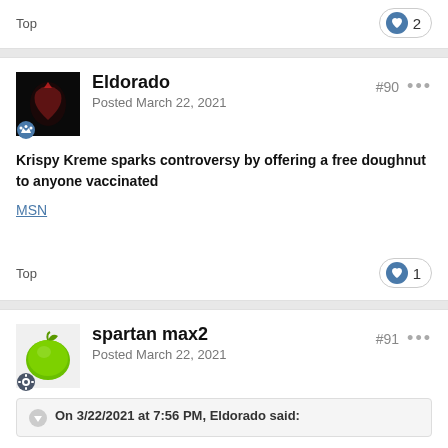Top
[Figure (screenshot): Like button with heart icon showing count 2]
[Figure (photo): Eldorado user avatar - dark image]
Eldorado
Posted March 22, 2021
#90
Krispy Kreme sparks controversy by offering a free doughnut to anyone vaccinated
MSN
Top
[Figure (screenshot): Like button with heart icon showing count 1]
[Figure (photo): spartan max2 user avatar - green apple]
spartan max2
Posted March 22, 2021
#91
On 3/22/2021 at 7:56 PM, Eldorado said: